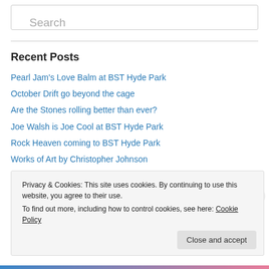Search
Recent Posts
Pearl Jam's Love Balm at BST Hyde Park
October Drift go beyond the cage
Are the Stones rolling better than ever?
Joe Walsh is Joe Cool at BST Hyde Park
Rock Heaven coming to BST Hyde Park
Works of Art by Christopher Johnson
Beer leads Czechs to victory in Victoria
Privacy & Cookies: This site uses cookies. By continuing to use this website, you agree to their use.
To find out more, including how to control cookies, see here: Cookie Policy
Close and accept